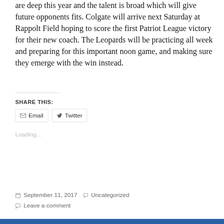are deep this year and the talent is broad which will give future opponents fits. Colgate will arrive next Saturday at Rappolt Field hoping to score the first Patriot League victory for their new coach. The Leopards will be practicing all week and preparing for this important noon game, and making sure they emerge with the win instead.
SHARE THIS:
Email   Twitter
Loading...
September 11, 2017   Uncategorized
Leave a comment